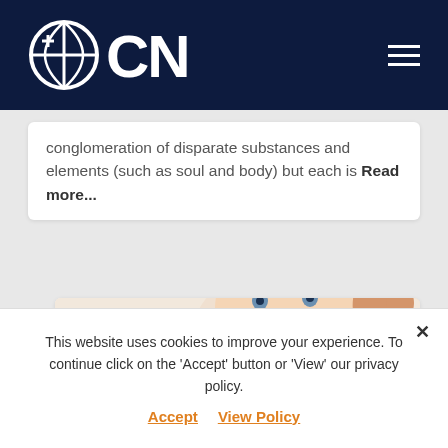OCN
conglomeration of disparate substances and elements (such as soul and body) but each is Read more...
[Figure (photo): A smiling baby being held up by a woman, photographed from below against a white background. The baby is laughing and wearing white.]
This website uses cookies to improve your experience. To continue click on the 'Accept' button or 'View' our privacy policy. Accept  View Policy